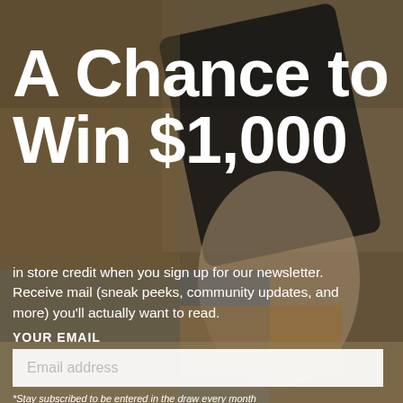[Figure (photo): Background photo of a person sitting in a chair holding a tablet/iPad, warm tones with beige and brown colors]
A Chance to Win $1,000
in store credit when you sign up for our newsletter. Receive mail (sneak peeks, community updates, and more) you'll actually want to read.
YOUR EMAIL
Email address
*Stay subscribed to be entered in the draw every month